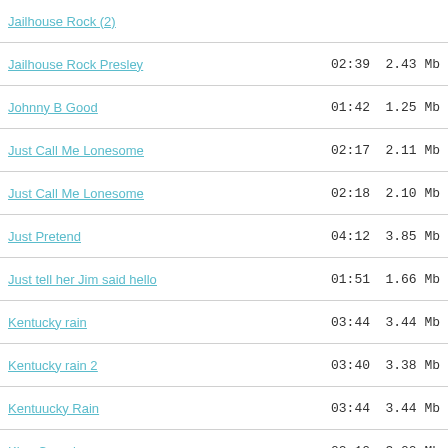Jailhouse Rock (2)
Jailhouse Rock Presley  02:39  2.43 Mb
Johnny B Good  01:42  1.25 Mb
Just Call Me Lonesome  02:17  2.11 Mb
Just Call Me Lonesome  02:18  2.10 Mb
Just Pretend  04:12  3.85 Mb
Just tell her Jim said hello  01:51  1.66 Mb
Kentucky rain  03:44  3.44 Mb
Kentucky rain 2  03:40  3.38 Mb
Kentuucky Rain  03:44  3.44 Mb
King Creoale  02:10  3.00 Mb
King Creole  02:23  2.18 Mb
King of the whole wide world  02:09  1.92 Mb
Kiss me quick  02:56  2.54 Mb
Kissin Cousins  02:23  2.20 Mb